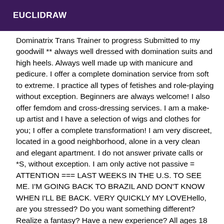EUCLIDRAW
Dominatrix Trans Trainer to progress Submitted to my goodwill ** always well dressed with domination suits and high heels. Always well made up with manicure and pedicure. I offer a complete domination service from soft to extreme. I practice all types of fetishes and role-playing without exception. Beginners are always welcome! I also offer femdom and cross-dressing services. I am a make-up artist and I have a selection of wigs and clothes for you; I offer a complete transformation! I am very discreet, located in a good neighborhood, alone in a very clean and elegant apartment. I do not answer private calls or *S, without exception. I am only active not passive = ATTENTION === LAST WEEKS IN THE U.S. TO SEE ME. I'M GOING BACK TO BRAZIL AND DON'T KNOW WHEN I'LL BE BACK. VERY QUICKLY MY LOVEHello, are you stressed? Do you want something different? Realize a fantasy? Have a new experience? All ages 18 TO 99